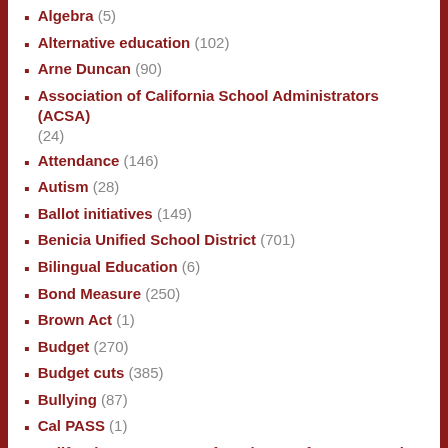Algebra (5)
Alternative education (102)
Arne Duncan (90)
Association of California School Administrators (ACSA) (24)
Attendance (146)
Autism (28)
Ballot initiatives (149)
Benicia Unified School District (701)
Bilingual Education (6)
Bond Measure (250)
Brown Act (1)
Budget (270)
Budget cuts (385)
Bullying (87)
Cal PASS (1)
California Assessment of Student Performance and Progress (CAASPP) (16)
California Commission on Teacher Credentialing (15)
California Department of Education (CDE) (626)
California Department of Finance (5)